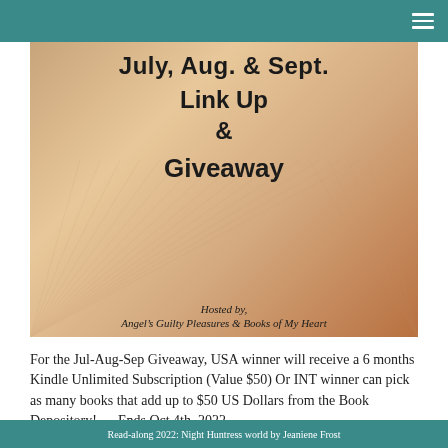[Figure (illustration): Book pages close-up photo with text overlay: 'July, Aug. & Sept. Link Up & Giveaway – Hosted by: Angel's Guilty Pleasures & Books of My Heart']
For the Jul-Aug-Sep Giveaway, USA winner will receive a 6 months Kindle Unlimited Subscription (Value $50) Or INT winner can pick as many books that add up to $50 US Dollars from the Book Depository! — Ends Oct 4th, 2022
Read-along 2022: Night Huntress world by Jeaniene Frost